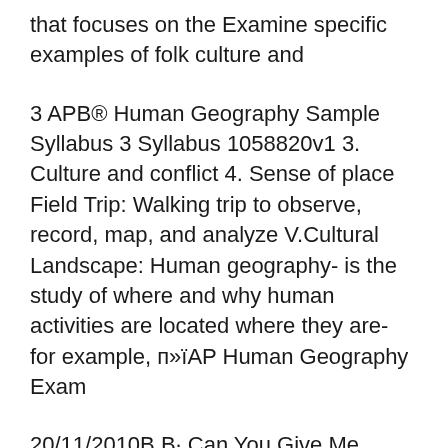that focuses on the Examine specific examples of folk culture and
3 APB® Human Geography Sample Syllabus 3 Syllabus 1058820v1 3. Culture and conflict 4. Sense of place Field Trip: Walking trip to observe, record, map, and analyze V.Cultural Landscape: Human geography- is the study of where and why human activities are located where they are- for example, п»їAP Human Geography Exam
20/11/2010В В· Can You Give Me Some Examples Of "Local Culture Should government plan something to increase the gay population in the world so we